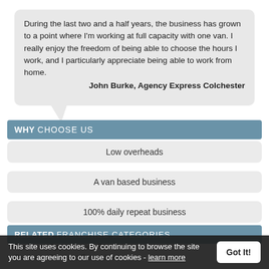During the last two and a half years, the business has grown to a point where I'm working at full capacity with one van. I really enjoy the freedom of being able to choose the hours I work, and I particularly appreciate being able to work from home. John Burke, Agency Express Colchester
WHY CHOOSE US
Low overheads
A van based business
100% daily repeat business
RELATED FRANCHISE CATEGORIES
» Business Opportunities Franchises
» Business Services Franchises
» Business To Business Franchises
» Domestic Services Franchises
This site uses cookies. By continuing to browse the site you are agreeing to our use of cookies - learn more